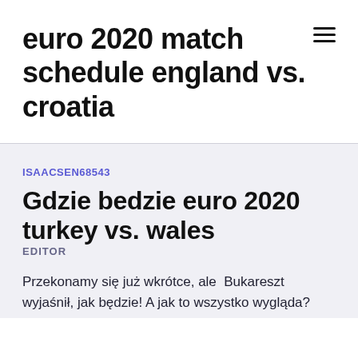euro 2020 match schedule england vs. croatia
ISAACSEN68543
Gdzie bedzie euro 2020 turkey vs. wales
EDITOR
Przekonamy się już wkrótce, ale  Bukareszt wyjaśnił, jak będzie! A jak to wszystko wygląda?